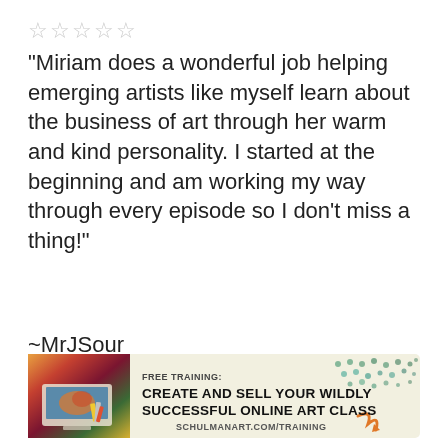☆☆☆☆☆
“Miriam does a wonderful job helping emerging artists like myself learn about the business of art through her warm and kind personality. I started at the beginning and am working my way through every episode so I don’t miss a thing!”
~MrJSour
[Figure (infographic): Advertisement banner: FREE TRAINING: CREATE AND SELL YOUR WILDLY SUCCESSFUL ONLINE ART CLASS - SCHULMANART.COM/TRAINING. Left side shows a colorful image of art supplies/computer. Right side has decorative green and teal dot pattern.]